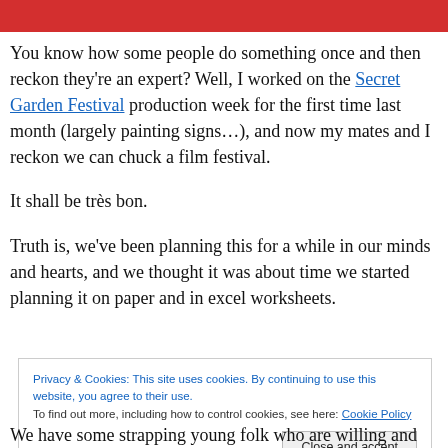[Figure (other): Red banner bar at top of page]
You know how some people do something once and then reckon they're an expert? Well, I worked on the Secret Garden Festival production week for the first time last month (largely painting signs…), and now my mates and I reckon we can chuck a film festival.
It shall be très bon.
Truth is, we've been planning this for a while in our minds and hearts, and we thought it was about time we started planning it on paper and in excel worksheets.
Privacy & Cookies: This site uses cookies. By continuing to use this website, you agree to their use. To find out more, including how to control cookies, see here: Cookie Policy
We have some strapping young folk who are willing and